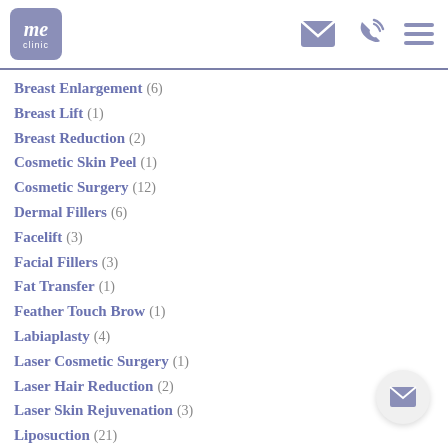me clinic — navigation header with email, phone, and menu icons
Breast Enlargement (6)
Breast Lift (1)
Breast Reduction (2)
Cosmetic Skin Peel (1)
Cosmetic Surgery (12)
Dermal Fillers (6)
Facelift (3)
Facial Fillers (3)
Fat Transfer (1)
Feather Touch Brow (1)
Labiaplasty (4)
Laser Cosmetic Surgery (1)
Laser Hair Reduction (2)
Laser Skin Rejuvenation (3)
Liposuction (21)